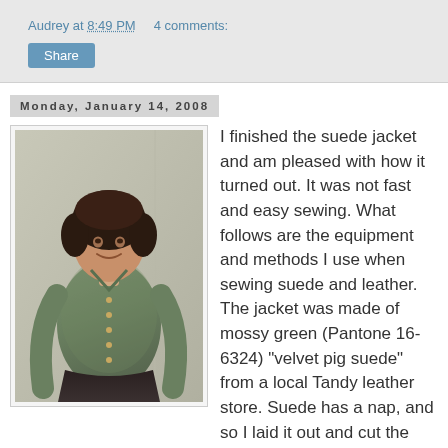Audrey at 8:49 PM    4 comments:
Share
Monday, January 14, 2008
[Figure (photo): Woman wearing a mossy green suede jacket with small buttons down the front, standing against a light wall, smiling at camera.]
I finished the suede jacket and am pleased with how it turned out. It was not fast and easy sewing. What follows are the equipment and methods I use when sewing suede and leather. The jacket was made of mossy green (Pantone 16-6324) "velvet pig suede" from a local Tandy leather store. Suede has a nap, and so I laid it out and cut the pattern pieces using it with